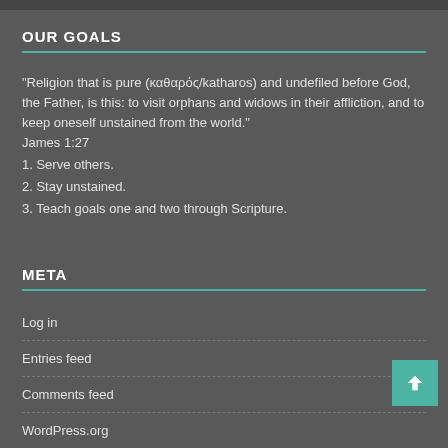OUR GOALS
"Religion that is pure (καθαρός/katharos) and undefiled before God, the Father, is this: to visit orphans and widows in their affliction, and to keep oneself unstained from the world." James 1:27
1. Serve others.
2. Stay unstained.
3. Teach goals one and two through Scripture.
META
Log in
Entries feed
Comments feed
WordPress.org